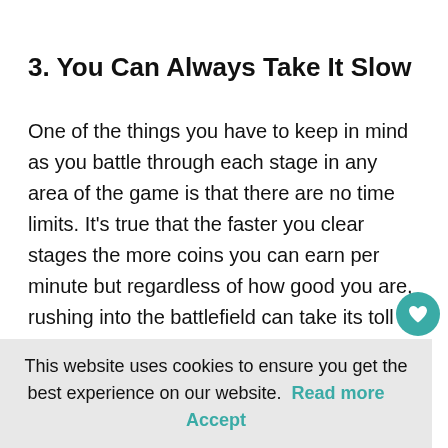3. You Can Always Take It Slow
One of the things you have to keep in mind as you battle through each stage in any area of the game is that there are no time limits. It’s true that the faster you clear stages the more coins you can earn per minute but regardless of how good you are, rushing into the battlefield can take its toll on your survivability.
This website uses cookies to ensure you get the best experience on our website.  Read more     Accept